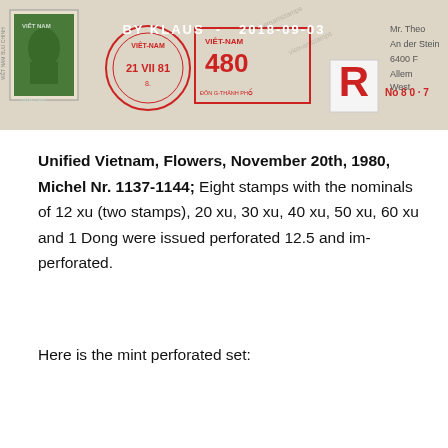[Figure (photo): Scanned envelope or postcard from Vietnam with stamps, postmarks including '21 VII 81', metered postage showing '480', a registration label 'R No.8 0.7', and partial recipient address in Germany. Header overlay text reads 'BY KLAUS - 2018-09-03'.]
BY KLAUS  -  2018-09-03
Unified Vietnam, Flowers, November 20th, 1980, Michel Nr. 1137-1144; Eight stamps with the nominals of 12 xu (two stamps), 20 xu, 30 xu, 40 xu, 50 xu, 60 xu and 1 Dong were issued perforated 12.5 and im-perforated.
Here is the mint perforated set: